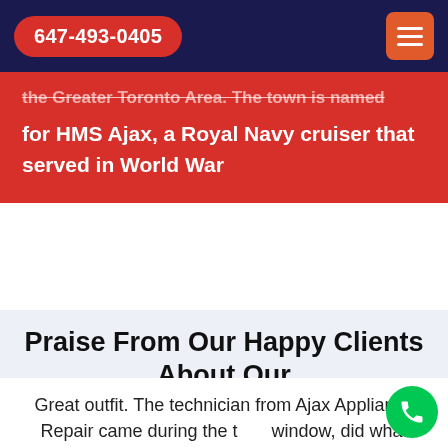647-493-0405
the Greater Toronto Area. The town is named for HMS Ajax, a Royal Navy cruiser that served in World War
Praise From Our Happy Clients About Our Ariston Appliance Repair in Ajax, ON
Great outfit. The technician from Ajax Appliance Repair came during the time window, did what needed to be done